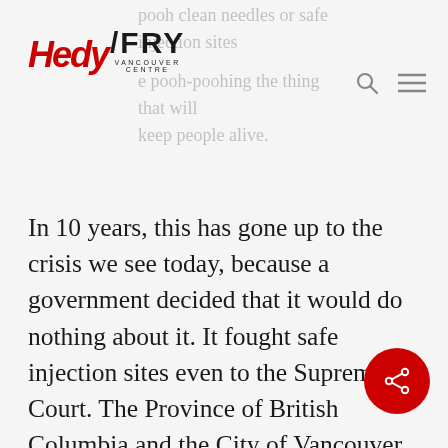Hedy Fry Vancouver Centre
pooh clean needles or safe injection sites pooh-poohing the thing that will keep people alive.
In 10 years, this has gone up to the crisis we see today, because a government decided that it would do nothing about it. It fought safe injection sites even to the Supreme Court. The Province of British Columbia and the City of Vancouver took the federal Harper government to court to fight this issue, because it was about life, liberty and security of the person. The issue was fought for 10 years, and over those 10 years, we saw the number